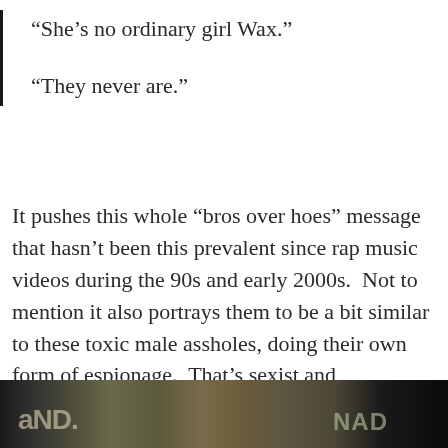“She’s no ordinary girl Wax.”
“They never are.”
It pushes this whole “bros over hoes” message that hasn’t been this prevalent since rap music videos during the 90s and early 2000s.  Not to mention it also portrays them to be a bit similar to these toxic male assholes, doing their own form of espionage.  That’s sexist and disrespectful and degrading towards women, especially muslim women.  That’s bullshit!
[Figure (photo): Dark photograph strip showing graffiti or street art, mostly dark with partial text visible]